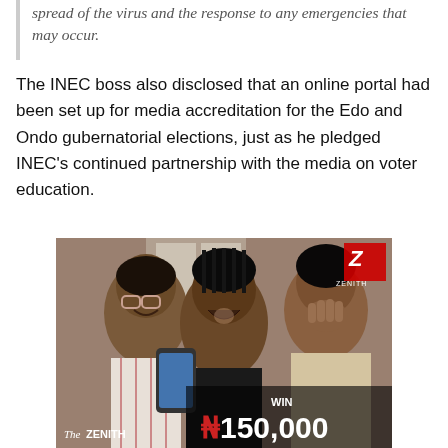spread of the virus and the response to any emergencies that may occur.
The INEC boss also disclosed that an online portal had been set up for media accreditation for the Edo and Ondo gubernatorial elections, just as he pledged INEC's continued partnership with the media on voter education.
[Figure (photo): Advertisement photo showing three young African women laughing and looking at a phone, with the Zenith Bank logo in the top right corner and text reading 'WIN ₦150,000' in the bottom right, and 'TheZENITH' in the bottom left.]